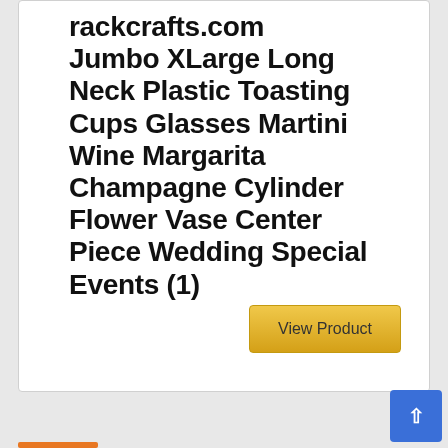rackcrafts.com Jumbo XLarge Long Neck Plastic Toasting Cups Glasses Martini Wine Margarita Champagne Cylinder Flower Vase Center Piece Wedding Special Events (1)
View Product